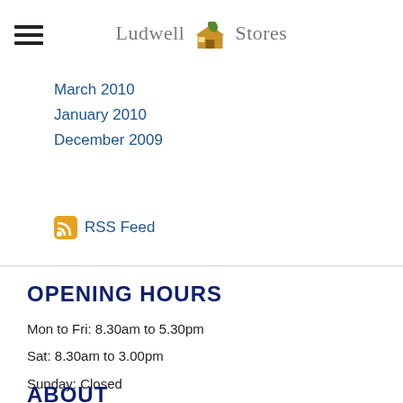Ludwell Stores
March 2010
January 2010
December 2009
RSS Feed
OPENING HOURS
Mon to Fri: 8.30am to 5.30pm
Sat: 8.30am to 3.00pm
Sunday: Closed
ABOUT